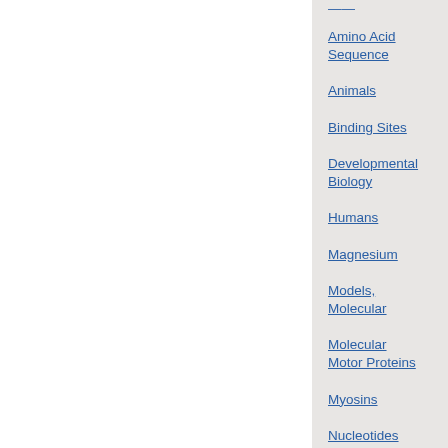Amino Acid Sequence
Animals
Binding Sites
Developmental Biology
Humans
Magnesium
Models, Molecular
Molecular Motor Proteins
Myosins
Nucleotides
Protein Conformation
Protein Structure